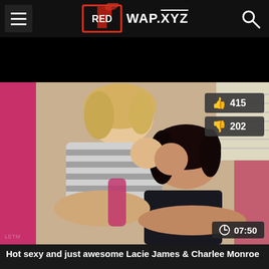RED WAP.XYZ
[Figure (screenshot): Video thumbnail showing two women kissing on a pink couch, with like count 415, dislike count 202, and duration 07:50 overlaid]
Hot sexy and just awesome Lacie James & Charlee Monroe always together